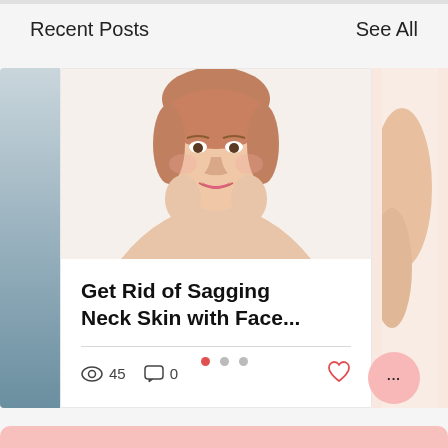Recent Posts
See All
[Figure (photo): Blog post card showing a smiling woman touching her face, with title 'Get Rid of Sagging Neck Skin with Face...' and engagement stats: 45 views, 0 comments, heart icon]
Get Rid of Sagging Neck Skin with Face...
45
0